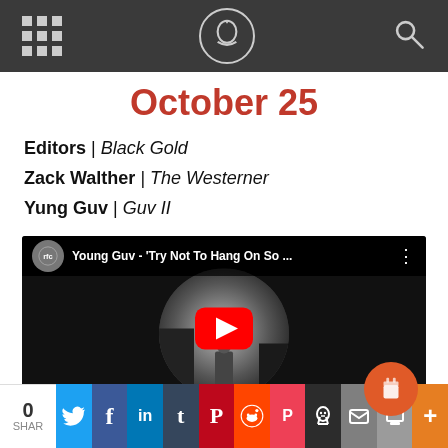Navigation bar with grid menu, logo, and search icon
October 25
Editors | Black Gold
Zack Walther | The Westerner
Yung Guv | Guv II
[Figure (screenshot): YouTube video embed showing 'Young Guv - Try Not To Hang On So ...' with a fisheye black-and-white photo thumbnail and red play button]
0 SHAR | Twitter | Facebook | LinkedIn | Tumblr | Pinterest | Reddit | Pocket | Skull | Email | Print | Plus